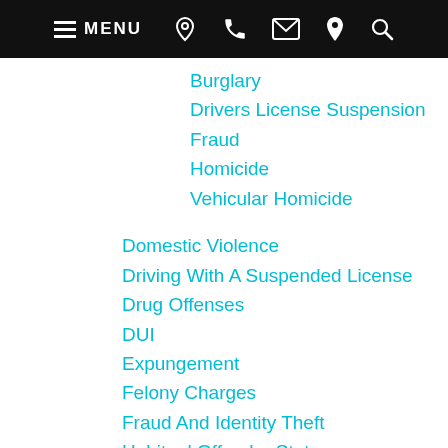MENU (navigation bar with phone, mail, location, search icons)
Burglary
Drivers License Suspension
Fraud
Homicide
Vehicular Homicide
Domestic Violence
Driving With A Suspended License
Drug Offenses
DUI
Expungement
Felony Charges
Fraud And Identity Theft
Habitual Offender Status
Internet Crimes
Juvenile Offenses
Marijuana Offenses
Pre Arrest Services
Prescription Drug Offenses
Probation Violations